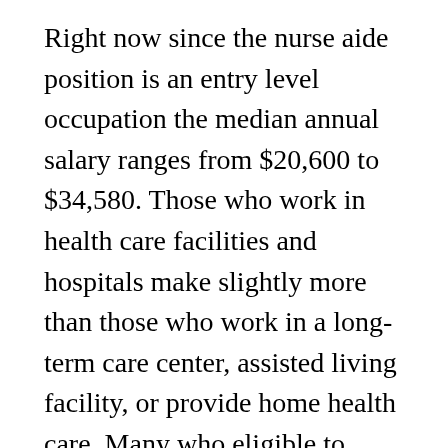Right now since the nurse aide position is an entry level occupation the median annual salary ranges from $20,600 to $34,580. Those who work in health care facilities and hospitals make slightly more than those who work in a long-term care center, assisted living facility, or provide home health care. Many who eligible to work go on to become registered nurses which can pay from $54,000 to over $80,000 a year.
This is an entry level job that typically requires a high school diploma or GED and 0-2 years of education and related experience. At this time approximately 75% of the employees in this profession are female and